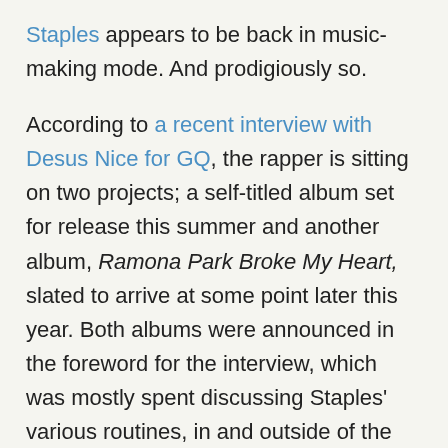Staples appears to be back in music-making mode. And prodigiously so.
According to a recent interview with Desus Nice for GQ, the rapper is sitting on two projects; a self-titled album set for release this summer and another album, Ramona Park Broke My Heart,  slated to arrive at some point later this year. Both albums were announced in the foreword for the interview, which was mostly spent discussing Staples' various routines, in and outside of the studio. The foreword also reveals that Staples is expanding his on-screen portfolio with a new series for Netflix. No title or release date have been announced just yet.
Aside from the rapper's hygiene and workout regimens, the